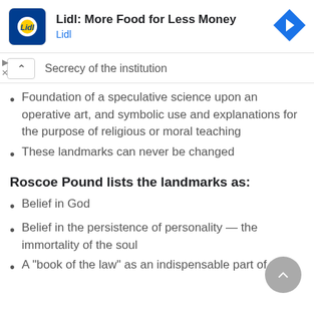[Figure (logo): Lidl advertisement banner with Lidl logo, title 'Lidl: More Food for Less Money', subtitle 'Lidl', and a blue navigation arrow diamond icon]
Secrecy of the institution
Foundation of a speculative science upon an operative art, and symbolic use and explanations for the purpose of religious or moral teaching
These landmarks can never be changed
Roscoe Pound lists the landmarks as:
Belief in God
Belief in the persistence of personality — the immortality of the soul
A "book of the law" as an indispensable part of